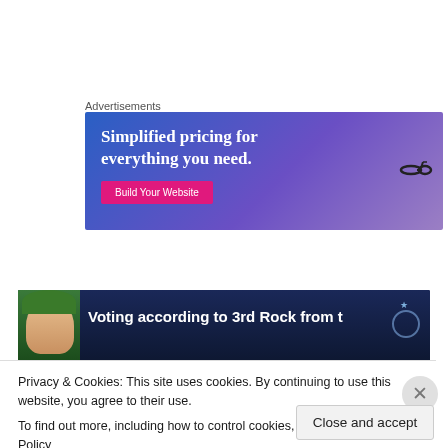Advertisements
[Figure (illustration): Advertisement banner with blue-purple gradient background, text 'Simplified pricing for everything you need.' in white serif font, a pink 'Build Your Website' button, and a hand holding glasses on the right.]
[Figure (photo): Article thumbnail showing a person with green hair accessories against a dark starry background, with overlaid text 'Voting according to 3rd Rock from t...']
Privacy & Cookies: This site uses cookies. By continuing to use this website, you agree to their use.
To find out more, including how to control cookies, see here: Cookie Policy
Close and accept